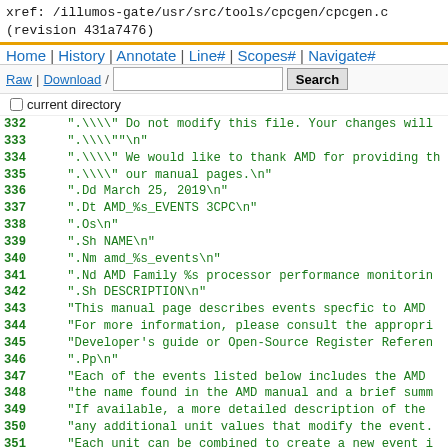xref: /illumos-gate/usr/src/tools/cpcgen/cpcgen.c
(revision 431a7476)
Home | History | Annotate | Line# | Scopes# | Navigate#
Raw | Download/ [search box] Search
current directory
332   ".\\\" Do not modify this file. Your changes will
333   ".\\\"\n"
334   ".\\\" We would like to thank AMD for providing th
335   ".\\\" our manual pages.\n"
336   ".Dd March 25, 2019\n"
337   ".Dt AMD_%s_EVENTS 3CPC\n"
338   ".Os\n"
339   ".Sh NAME\n"
340   ".Nm amd_%s_events\n"
341   ".Nd AMD Family %s processor performance monitorin
342   ".Sh DESCRIPTION\n"
343   "This manual page describes events specfic to AMD
344   "For more information, please consult the appropri
345   "Developer's guide or Open-Source Register Referen
346   ".Pp\n"
347   "Each of the events listed below includes the AMD
348   "the name found in the AMD manual and a brief summ
349   "If available, a more detailed description of the
350   "any additional unit values that modify the event.
351   "Each unit can be combined to create a new event i
352   "the '.' character between the event name and the
353   ".Pp\n"
354   "The following events are supported:\n"